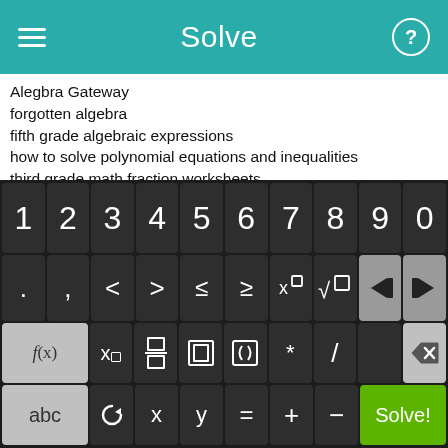Solve
Alegbra Gateway
forgotten algebra
fifth grade algebraic expressions
how to solve polynomial equations and inequalities
third grade math fraction worksheets
how to solve algebra equations
download free algebra solver
least common denominator fractions calculator
algebraic expressions worksheets elementary
printable third grade math question paper
[Figure (screenshot): Calculator keyboard with digits 1-9,0, operators, function keys including f(x), x subscript, fraction, absolute value, parentheses, multiply, divide, delete, abc, rotation, x, y, equals, plus, minus, and Solve! button]